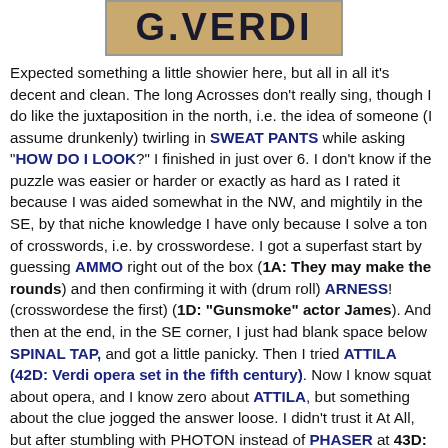[Figure (illustration): A sepia/tan colored sign or label reading 'G. VERDI' in large bold block letters]
Expected something a little showier here, but all in all it's decent and clean. The long Acrosses don't really sing, though I do like the juxtaposition in the north, i.e. the idea of someone (I assume drunkenly) twirling in SWEAT PANTS while asking "HOW DO I LOOK?" I finished in just over 6. I don't know if the puzzle was easier or harder or exactly as hard as I rated it because I was aided somewhat in the NW, and mightily in the SE, by that niche knowledge I have only because I solve a ton of crosswords, i.e. by crosswordese. I got a superfast start by guessing AMMO right out of the box (1A: They may make the rounds) and then confirming it with (drum roll) ARNESS! (crosswordese the first) (1D: "Gunsmoke" actor James). And then at the end, in the SE corner, I just had blank space below SPINAL TAP, and got a little panicky. Then I tried ATTILA (42D: Verdi opera set in the fifth century). Now I know squat about opera, and I know zero about ATTILA, but something about the clue jogged the answer loose. I didn't trust it At All, but after stumbling with PHOTON instead of PHASER at 43D: Particle beam weapon. I could see it was all going to work